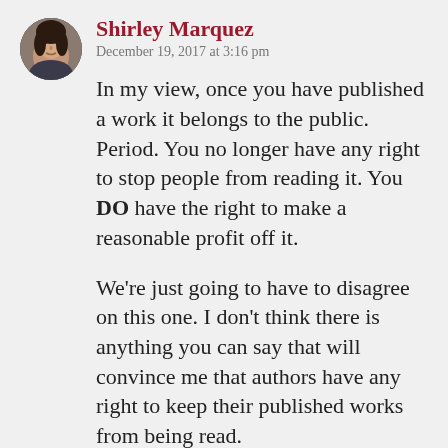[Figure (photo): Circular avatar photo of Shirley Marquez, a woman with dark hair]
Shirley Marquez
December 19, 2017 at 3:16 pm
In my view, once you have published a work it belongs to the public. Period. You no longer have any right to stop people from reading it. You DO have the right to make a reasonable profit off it.
We’re just going to have to disagree on this one. I don’t think there is anything you can say that will convince me that authors have any right to keep their published works from being read.